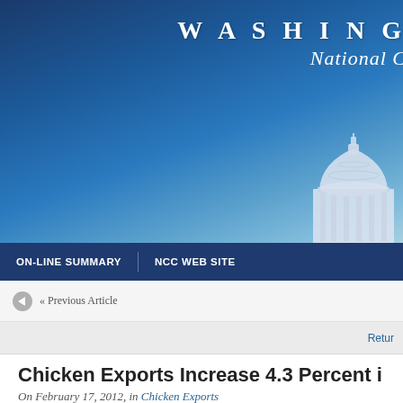[Figure (illustration): Washington NCC website header banner with blue sky gradient background and partial Capitol dome illustration in bottom-right corner, with white serif text reading 'WASHINGTON' and 'National C']
ON-LINE SUMMARY   |   NCC WEB SITE
« Previous Article
Retur
Chicken Exports Increase 4.3 Percent i
On February 17, 2012, in Chicken Exports